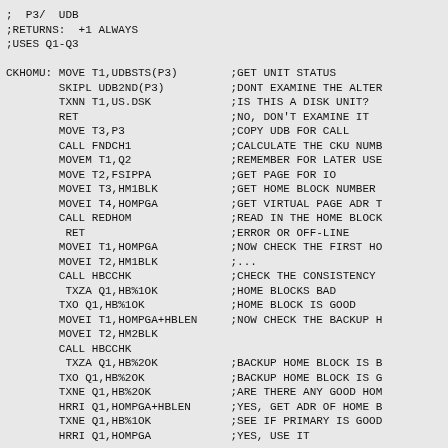;  P3/  UDB
;RETURNS:  +1 ALWAYS
;USES Q1-Q3

CKHOMU: MOVE T1,UDBSTS(P3)        ;GET UNIT STATUS
        SKIPL UDB2ND(P3)          ;DONT EXAMINE THE ALTER
        TXNN T1,US.DSK            ;IS THIS A DISK UNIT?
        RET                       ;NO, DON'T EXAMINE IT
        MOVE T3,P3                ;COPY UDB FOR CALL
        CALL FNDCH1               ;CALCULATE THE CKU NUMB
        MOVEM T1,Q2               ;REMEMBER FOR LATER USE
        MOVE T2,FSIPPA            ;GET PAGE FOR IO
        MOVEI T3,HM1BLK           ;GET HOME BLOCK NUMBER
        MOVEI T4,HOMPGA           ;GET VIRTUAL PAGE ADR T
        CALL REDHOM               ;READ IN THE HOME BLOCK
         RET                      ;ERROR OR OFF-LINE
        MOVEI T1,HOMPGA           ;NOW CHECK THE FIRST HO
        MOVEI T2,HM1BLK           ;...
        CALL HBCCHK               ;CHECK THE CONSISTENCY
         TXZA Q1,HB%1OK           ;HOME BLOCKS BAD
        TXO Q1,HB%1OK             ;HOME BLOCK IS GOOD
        MOVEI T1,HOMPGA+HBLEN     ;NOW CHECK THE BACKUP H
        MOVEI T2,HM2BLK
        CALL HBCCHK
         TXZA Q1,HB%2OK           ;BACKUP HOME BLOCK IS B
        TXO Q1,HB%2OK             ;BACKUP HOME BLOCK IS G
        TXNE Q1,HB%2OK            ;ARE THERE ANY GOOD HOM
        HRRI Q1,HOMPGA+HBLEN      ;YES, GET ADR OF HOME B
        TXNE Q1,HB%1OK            ;SEE IF PRIMARY IS GOOD
        HRRI Q1,HOMPGA            ;YES, USE IT